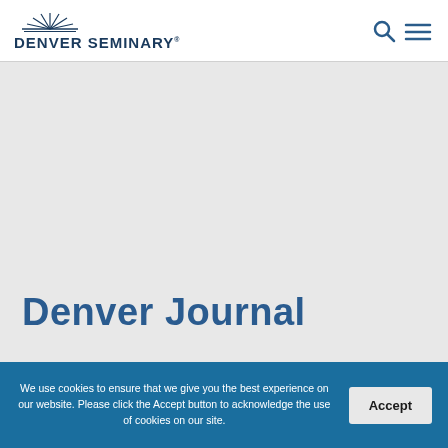DENVER SEMINARY
Denver Journal
Home  -  Journal  -  Volume 18 - 2015  -  The Emotionally Healthy Leader
We use cookies to ensure that we give you the best experience on our website. Please click the Accept button to acknowledge the use of cookies on our site.